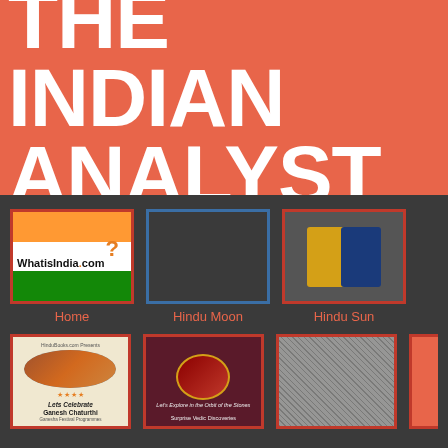THE INDIAN ANALYST
[Figure (screenshot): Navigation thumbnails row 1: Home (WhatisIndia.com with Indian flag logo), Hindu Moon (dark placeholder), Hindu Sun (yellow and blue booklets)]
Home
Hindu Moon
Hindu Sun
[Figure (screenshot): Navigation thumbnails row 2: Ganesh Chaturthi book cover, Vedic Astrology book (dark maroon), textile/fabric image, partial orange thumbnail at right edge]